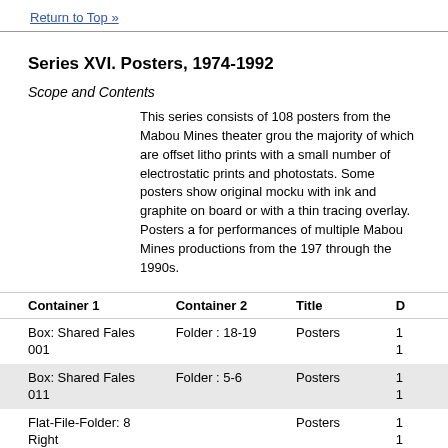Return to Top »
Series XVI. Posters, 1974-1992
Scope and Contents
This series consists of 108 posters from the Mabou Mines theater group, the majority of which are offset litho prints with a small number of electrostatic prints and photostats. Some posters show original mockups with ink and graphite on board or with a thin tracing overlay. Posters are for performances of multiple Mabou Mines productions from the 1970s through the 1990s.
| Container 1 | Container 2 | Title | D |
| --- | --- | --- | --- |
| Box: Shared Fales 001 | Folder : 18-19 | Posters | 1
1 |
| Box: Shared Fales 011 | Folder : 5-6 | Posters | 1
1 |
| Flat-File-Folder: 8 Right |  | Posters | 1
1 |
| Flat-File-Folder: 9 |  | Posters | 1 |